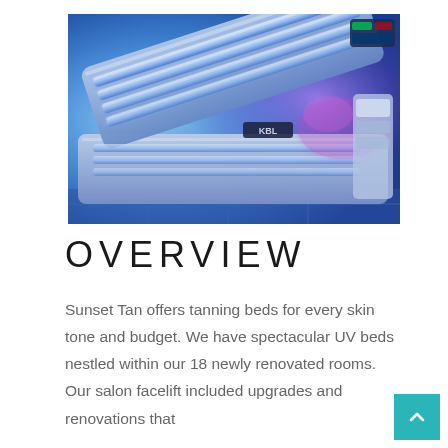[Figure (photo): A tanning bed machine with blue UV lighting illuminated inside a tanning salon room. The bed is open with a KBL brand label visible. Pink and blue lights glow from the interior.]
OVERVIEW
Sunset Tan offers tanning beds for every skin tone and budget. We have spectacular UV beds nestled within our 18 newly renovated rooms. Our salon facelift included upgrades and renovations that